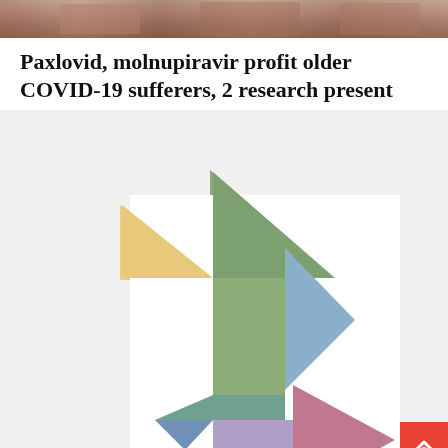[Figure (photo): Cropped photo strip at top of page showing people, partially visible]
Paxlovid, molnupiravir profit older COVID-19 sufferers, 2 research present
[Figure (illustration): Tangram-style geometric shapes logo composed of colored triangles, parallelograms, and a square arranged in a puzzle pattern. Colors include yellow/tan, green, sage green, teal, blue, steel blue, mauve/pink, lavender/purple. Displayed on a light gray background with a white inner card.]